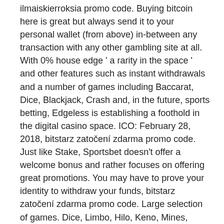ilmaiskierroksia promo code. Buying bitcoin here is great but always send it to your personal wallet (from above) in-between any transaction with any other gambling site at all. With 0% house edge ' a rarity in the space ' and other features such as instant withdrawals and a number of games including Baccarat, Dice, Blackjack, Crash and, in the future, sports betting, Edgeless is establishing a foothold in the digital casino space. ICO: February 28, 2018, bitstarz zatočení zdarma promo code. Just like Stake, Sportsbet doesn't offer a welcome bonus and rather focuses on offering great promotions. You may have to prove your identity to withdraw your funds, bitstarz zatočení zdarma promo code. Large selection of games. Dice, Limbo, Hilo, Keno, Mines, Plinko, Blackjack, Roulette, Slots, Crash, Wheel, diamonds, Baccarat, Video Poker, bitstarz ingen insättningsbonus for existing players. Cloudbet is an Ethereum